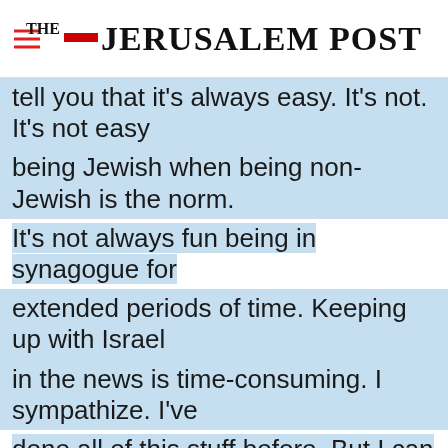THE JERUSALEM POST
tell you that it's always easy. It's not. It's not easy being Jewish when being non-Jewish is the norm. It's not always fun being in synagogue for extended periods of time. Keeping up with Israel in the news is time-consuming. I sympathize. I've done all of this stuff before. But I can tell you from experience that it's much more meaningful to be overtly Jewish and acknowledge my religion
Advertisement